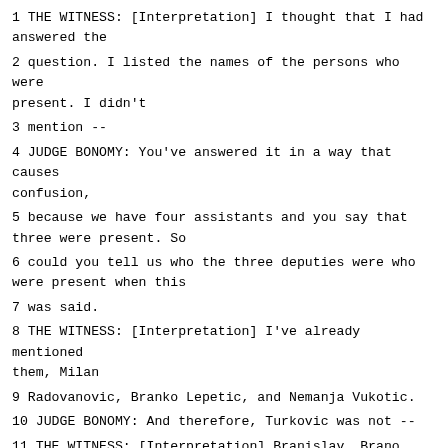1 THE WITNESS: [Interpretation] I thought that I had answered the
2 question. I listed the names of the persons who were present. I didn't
3 mention --
4 JUDGE BONOMY: You've answered it in a way that causes confusion,
5 because we have four assistants and you say that three were present. So
6 could you tell us who the three deputies were who were present when this
7 was said.
8 THE WITNESS: [Interpretation] I've already mentioned them, Milan
9 Radovanovic, Branko Lepetic, and Nemanja Vukotic.
10 JUDGE BONOMY: And therefore, Turkovic was not --
11 THE WITNESS: [Interpretation] Branislav, Brano, Turkovic, he was
12 also present. He had specific tasks to deal with in obtaining documents